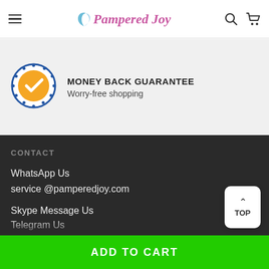Pampered Joy
MONEY BACK GUARANTEE
Worry-free shopping
CONTACT
WhatsApp Us
service @pamperedjoy.com
Skype Message Us
Telegram Us
Singapore
USA
ADD TO CART